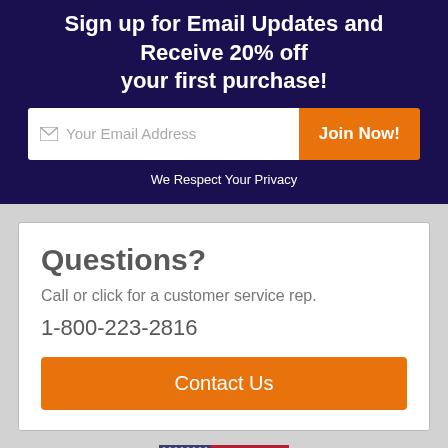Sign up for Email Updates and Receive 20% off your first purchase!
Your Email Address
Join Now!
We Respect Your Privacy
Questions?
Call or click for a customer service rep.
1-800-223-2816
Contact Us
[Figure (illustration): US flag icon]